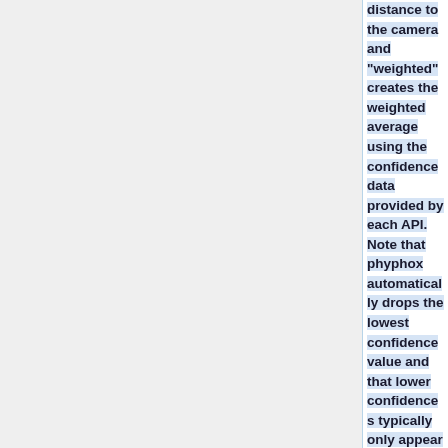distance to the camera and "weighted" creates the weighted average using the confidence data provided by each API. Note that phyphox automatically drops the lowest confidence value and that lower confidences typically only appear at edges and represent a small portion of most scenes.